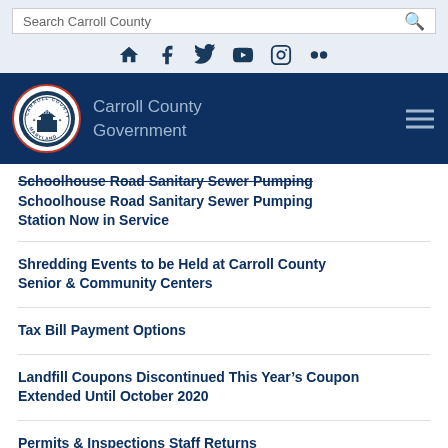Search Carroll County
Social media icons: home, facebook, twitter, youtube, instagram, flickr
Carroll County Government
Schoolhouse Road Sanitary Sewer Pumping Station Now in Service
Shredding Events to be Held at Carroll County Senior & Community Centers
Tax Bill Payment Options
Landfill Coupons Discontinued This Year's Coupon Extended Until October 2020
Permits & Inspections Staff Returns